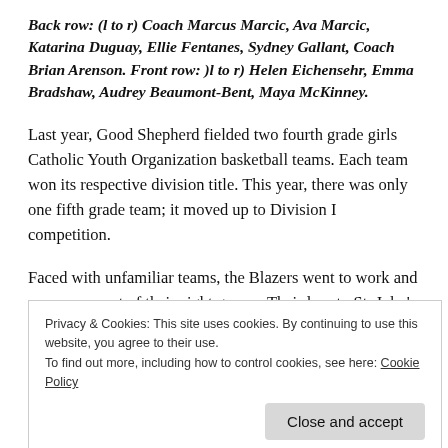Back row: (l to r) Coach Marcus Marcic, Ava Marcic, Katarina Duguay, Ellie Fentanes, Sydney Gallant, Coach Brian Arenson. Front row: )l to r) Helen Eichensehr, Emma Bradshaw, Audrey Beaumont-Bent, Maya McKinney.
Last year, Good Shepherd fielded two fourth grade girls Catholic Youth Organization basketball teams. Each team won its respective division title. This year, there was only one fifth grade team; it moved up to Division I competition.
Faced with unfamiliar teams, the Blazers went to work and won seven out of their eight games. Their loss to St. John's early in the season proved to consolidate the team, and they
Privacy & Cookies: This site uses cookies. By continuing to use this website, you agree to their use.
To find out more, including how to control cookies, see here: Cookie Policy
John team again. After their semi-final victory and in light of